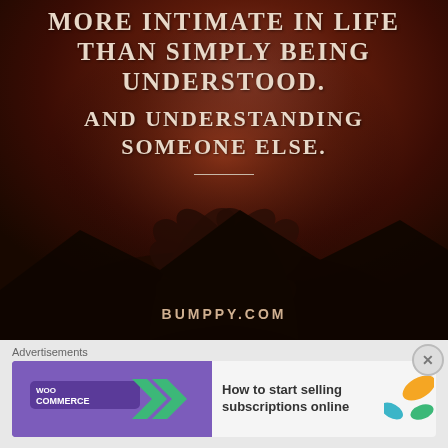[Figure (illustration): Inspirational quote image with dark reddish-brown background showing two hands clasped together (silhouette). White serif bold uppercase text reads: 'MORE INTIMATE IN LIFE THAN SIMPLY BEING UNDERSTOOD. AND UNDERSTANDING SOMEONE ELSE.' with a horizontal divider line and 'BUMPPY.COM' at the bottom.]
Advertisements
[Figure (screenshot): WooCommerce advertisement banner. Purple left side with WooCommerce logo and a green arrow. White right side with orange and teal leaf decorations. Text: 'How to start selling subscriptions online']